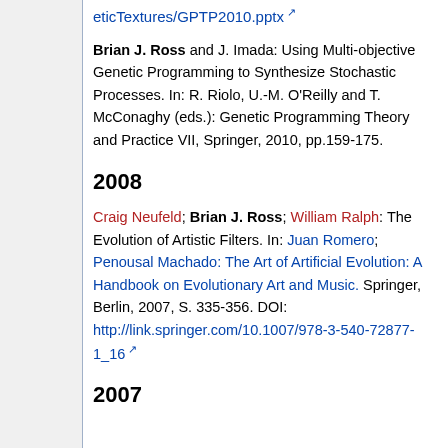eticTextures/GPTP2010.pptx [link]
Brian J. Ross and J. Imada: Using Multi-objective Genetic Programming to Synthesize Stochastic Processes. In: R. Riolo, U.-M. O'Reilly and T. McConaghy (eds.): Genetic Programming Theory and Practice VII, Springer, 2010, pp.159-175.
2008
Craig Neufeld; Brian J. Ross; William Ralph: The Evolution of Artistic Filters. In: Juan Romero; Penousal Machado: The Art of Artificial Evolution: A Handbook on Evolutionary Art and Music. Springer, Berlin, 2007, S. 335-356. DOI: http://link.springer.com/10.1007/978-3-540-72877-1_16
2007